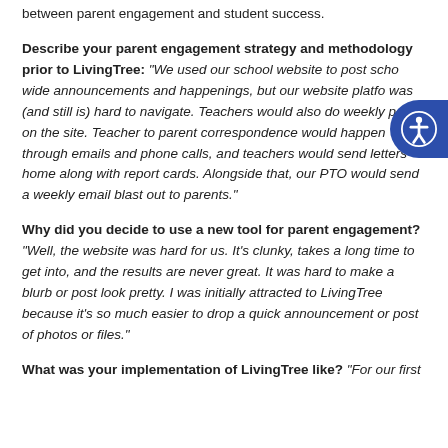between parent engagement and student success.
Describe your parent engagement strategy and methodology prior to LivingTree: "We used our school website to post school wide announcements and happenings, but our website platform was (and still is) hard to navigate. Teachers would also do weekly posts on the site. Teacher to parent correspondence would happen through emails and phone calls, and teachers would send letters home along with report cards. Alongside that, our PTO would send a weekly email blast out to parents."
Why did you decide to use a new tool for parent engagement? "Well, the website was hard for us. It's clunky, takes a long time to get into, and the results are never great. It was hard to make a blurb or post look pretty. I was initially attracted to LivingTree because it's so much easier to drop a quick announcement or post of photos or files."
What was your implementation of LivingTree like? "For our first